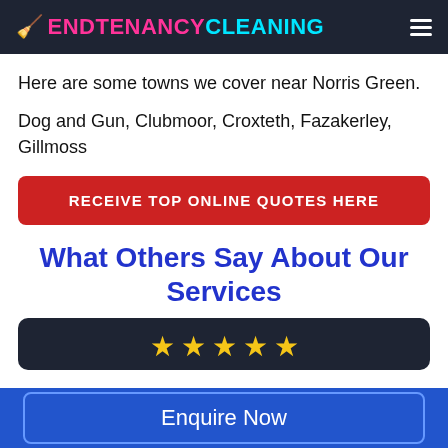ENDTENANCYCLEANING
Here are some towns we cover near Norris Green.
Dog and Gun, Clubmoor, Croxteth, Fazakerley, Gillmoss
RECEIVE TOP ONLINE QUOTES HERE
What Others Say About Our Services
[Figure (other): Five gold stars rating display on dark background]
Enquire Now